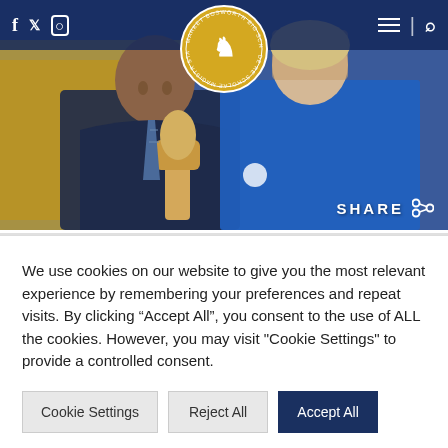[Figure (photo): Two school students in a workshop/technology classroom. A male student in a dark school blazer with tie is smiling and looking down at a wooden carved figure he's holding. A female student in a bright blue lab coat/apron stands beside him also looking at the wooden object. Background shows yellow workshop equipment.]
f  twitter  instagram  [hamburger menu]  |  [search]
SHARE
We use cookies on our website to give you the most relevant experience by remembering your preferences and repeat visits. By clicking “Accept All”, you consent to the use of ALL the cookies. However, you may visit "Cookie Settings" to provide a controlled consent.
Cookie Settings
Reject All
Accept All